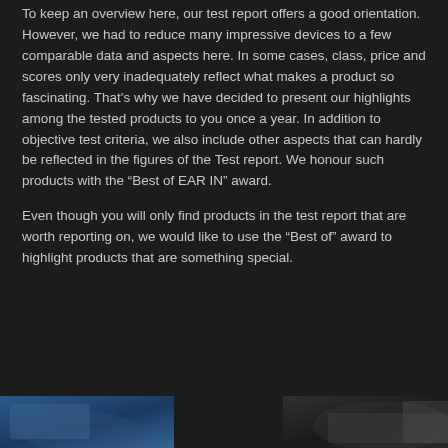To keep an overview here, our test report offers a good orientation. However, we had to reduce many impressive devices to a few comparable data and aspects here. In some cases, class, price and scores only very inadequately reflect what makes a product so fascinating. That's why we have decided to present our highlights among the tested products to you once a year. In addition to objective test criteria, we also include other aspects that can hardly be reflected in the figures of the Test report. We honour such products with the “Best of EAR IN” award.
Even though you will only find products in the test report that are worth reporting on, we would like to use the “Best of” award to highlight products that are something special.
[Figure (photo): Two partial product images at the bottom of the page on a dark background]